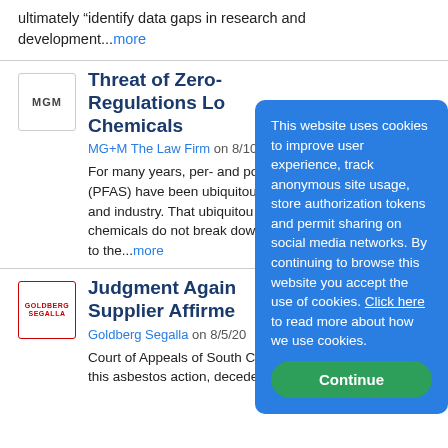ultimately “identify data gaps in research and development…more
Threat of Zero- Regulations Lo… Chemicals
MG+M The Law Firm on 8/10…
For many years, per- and po… (PFAS) have been ubiquitou… and industry. That ubiquitou… chemicals do not break dow… to the…more
Judgment Again… Supplier Affirme…
Goldberg Segalla on 8/5/20…
Court of Appeals of South Carolina, August 3, 2022 - In this asbestos action, decedent Stephen Stewart alleged
This website uses cookies to improve user experience, track anonymous site usage, store authorization tokens and permit sharing on social media networks. By continuing to browse this website you accept the use of cookies. Click here to read more about how we use cookies.
Continue